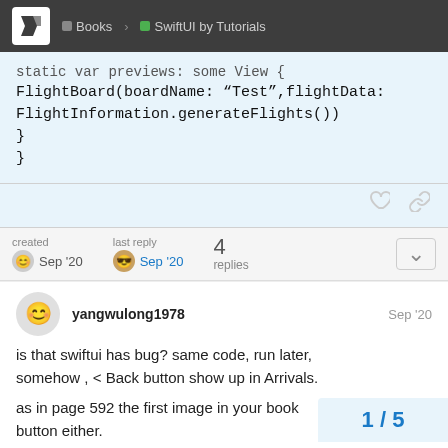Books  SwiftUI by Tutorials
static var previews: some View {
FlightBoard(boardName: “Test”,flightData:
FlightInformation.generateFlights())
}
}
created Sep '20   last reply Sep '20   4 replies
yangwulong1978  Sep '20
is that swiftui has bug? same code, run later, somehow , < Back button show up in Arrivals.
as in page 592 the first image in your book button either.
1 / 5